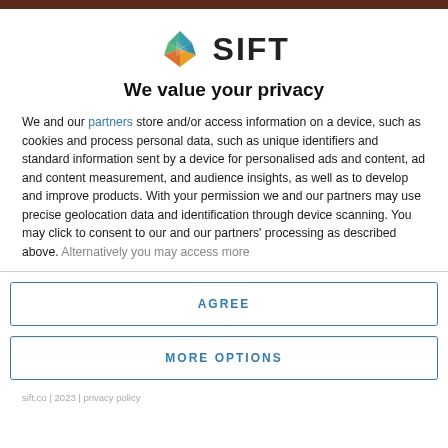[Figure (logo): SIFT logo with geometric gem icon and bold SIFT text]
We value your privacy
We and our partners store and/or access information on a device, such as cookies and process personal data, such as unique identifiers and standard information sent by a device for personalised ads and content, ad and content measurement, and audience insights, as well as to develop and improve products. With your permission we and our partners may use precise geolocation data and identification through device scanning. You may click to consent to our and our partners' processing as described above. Alternatively you may access more
AGREE
MORE OPTIONS
sift.co | 2023 | privacy policy